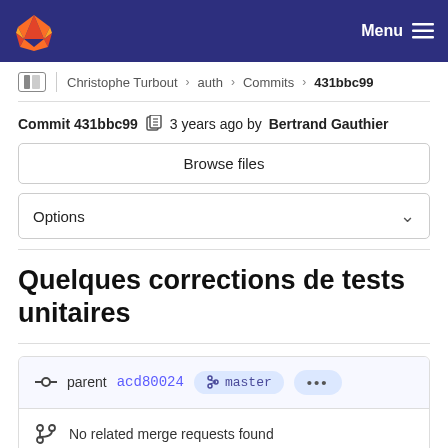Menu (GitLab navigation bar)
Christophe Turbout › auth › Commits › 431bbc99
Commit 431bbc99 🗂 3 years ago by Bertrand Gauthier
Browse files
Options
Quelques corrections de tests unitaires
parent acd80024 master ...
No related merge requests found